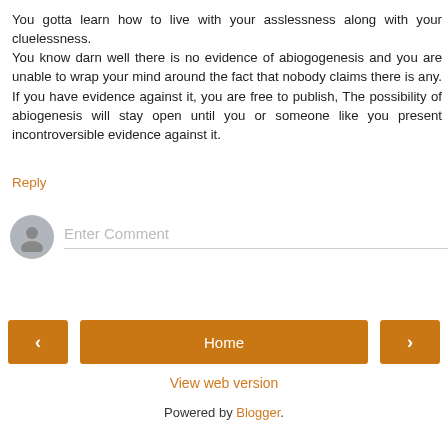You gotta learn how to live with your asslessness along with your cluelessness.
You know darn well there is no evidence of abiogogenesis and you are unable to wrap your mind around the fact that nobody claims there is any. If you have evidence against it, you are free to publish, The possibility of abiogenesis will stay open until you or someone like you present incontroversible evidence against it.
Reply
Enter Comment
Home
View web version
Powered by Blogger.